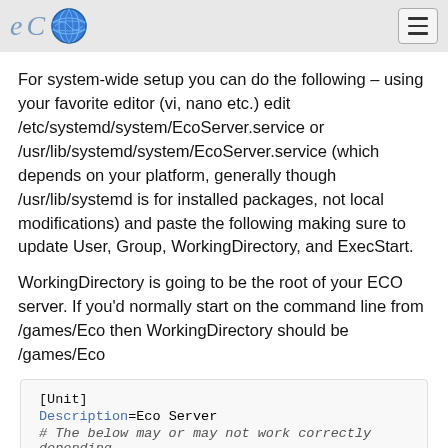ECO [logo with globe and hamburger menu]
For system-wide setup you can do the following – using your favorite editor (vi, nano etc.) edit /etc/systemd/system/EcoServer.service or /usr/lib/systemd/system/EcoServer.service (which depends on your platform, generally though /usr/lib/systemd is for installed packages, not local modifications) and paste the following making sure to update User, Group, WorkingDirectory, and ExecStart.
WorkingDirectory is going to be the root of your ECO server. If you'd normally start on the command line from /games/Eco then WorkingDirectory should be /games/Eco
[Figure (screenshot): Code block showing systemd unit file content: [Unit] Description=Eco Server # The below may or may not work correctly depending]